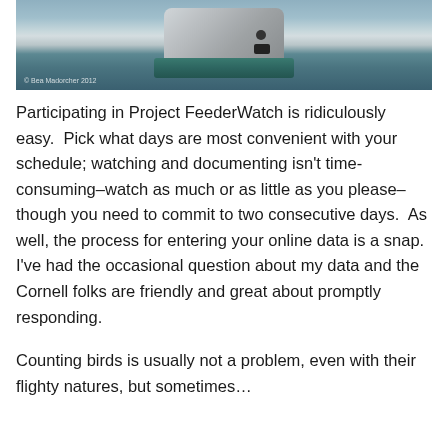[Figure (photo): Close-up photograph of a bird feeder with a grey/metallic seed container sitting on a teal/green base, with a blurred grey background. A small copyright watermark is visible in the lower left of the photo.]
Participating in Project FeederWatch is ridiculously easy.  Pick what days are most convenient with your schedule; watching and documenting isn't time-consuming–watch as much or as little as you please–though you need to commit to two consecutive days.  As well, the process for entering your online data is a snap.  I've had the occasional question about my data and the Cornell folks are friendly and great about promptly responding.
Counting birds is usually not a problem, even with their flighty natures, but sometimes…